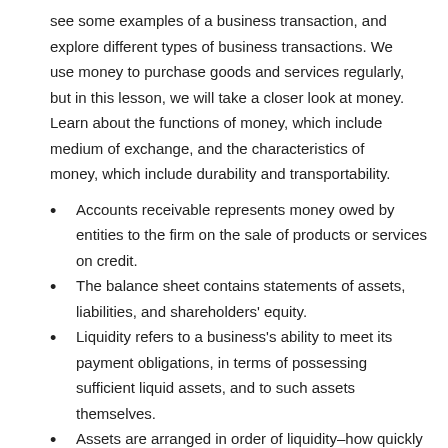see some examples of a business transaction, and explore different types of business transactions. We use money to purchase goods and services regularly, but in this lesson, we will take a closer look at money. Learn about the functions of money, which include medium of exchange, and the characteristics of money, which include durability and transportability.
Accounts receivable represents money owed by entities to the firm on the sale of products or services on credit.
The balance sheet contains statements of assets, liabilities, and shareholders' equity.
Liquidity refers to a business's ability to meet its payment obligations, in terms of possessing sufficient liquid assets, and to such assets themselves.
Assets are arranged in order of liquidity–how quickly they can be turned into cash.
Company stocks traded on the major exchanges are typically considered liquid.